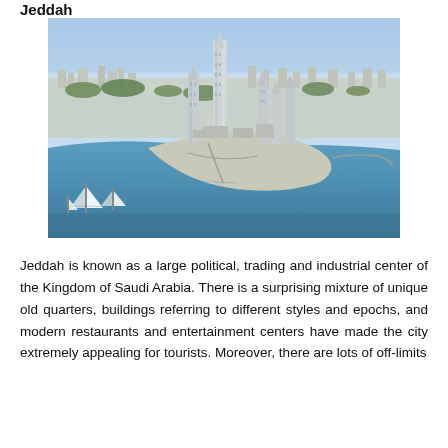Jeddah
[Figure (photo): Aerial view of Jeddah cityscape showing modern skyscrapers, a waterfront development on a peninsula, the Red Sea, sailboats in the foreground, and the city stretching to the horizon under a blue sky.]
Jeddah is known as a large political, trading and industrial center of the Kingdom of Saudi Arabia. There is a surprising mixture of unique old quarters, buildings referring to different styles and epochs, and modern restaurants and entertainment centers have made the city extremely appealing for tourists. Moreover, there are lots of off-limits